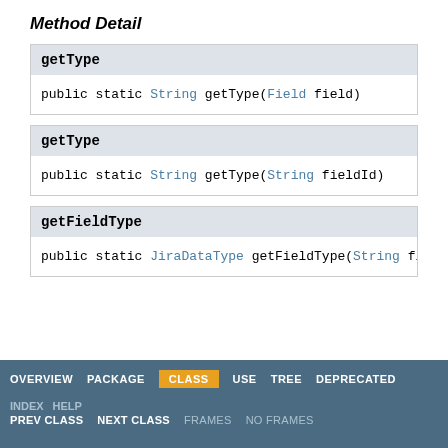Method Detail
public static String getType(Field field)
public static String getType(String fieldId)
public static JiraDataType getFieldType(String fi
OVERVIEW  PACKAGE  CLASS  USE  TREE  DEPRECATED  INDEX  HELP  PREV CLASS  NEXT CLASS  FRAMES  NO FRAMES